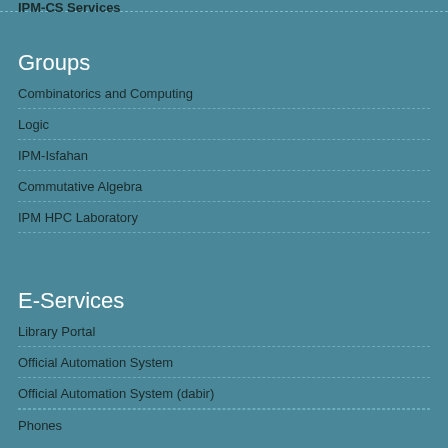IPM-CS Services
Groups
Combinatorics and Computing
Logic
IPM-Isfahan
Commutative Algebra
IPM HPC Laboratory
E-Services
Library Portal
Official Automation System
Official Automation System (dabir)
Phones